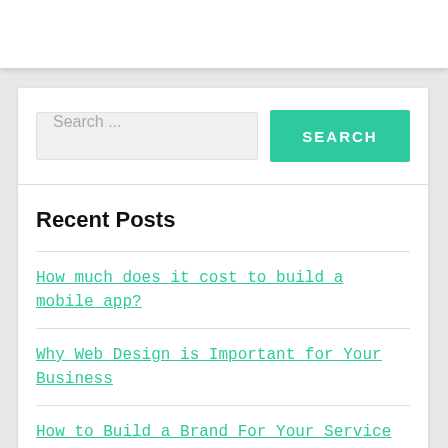[Figure (screenshot): White header bar at top of webpage]
Search ...
SEARCH
Recent Posts
How much does it cost to build a mobile app?
Why Web Design is Important for Your Business
How to Build a Brand For Your Service